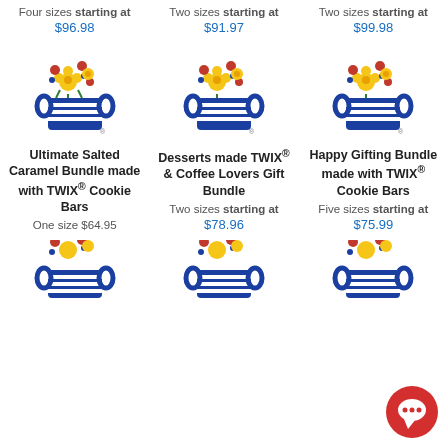Four sizes starting at $96.98
Two sizes starting at $91.97
Two sizes starting at $99.98
[Figure (logo): 1-800-Flowers basket logo with colorful flowers]
[Figure (logo): 1-800-Flowers basket logo with colorful flowers]
[Figure (logo): 1-800-Flowers basket logo with colorful flowers]
Ultimate Salted Caramel Bundle made with TWIX® Cookie Bars
Desserts made TWIX® & Coffee Lovers Gift Bundle
Happy Gifting Bundle made with TWIX® Cookie Bars
One size $64.95
Two sizes starting at $78.96
Five sizes starting at $75.99
[Figure (logo): 1-800-Flowers basket logo (partial, bottom row)]
[Figure (logo): 1-800-Flowers basket logo (partial, bottom row)]
[Figure (logo): 1-800-Flowers basket logo (partial, bottom row)]